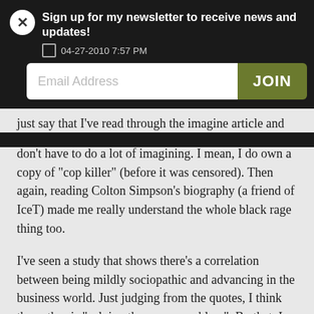Sign up for my newsletter to receive news and updates!
04-27-2010 7:57 PM
Email Address
JOIN
just say that I’ve read through the imagine article and don’t have to do a lot of imagining. I mean, I do own a copy of “cop killer” (before it was censored). Then again, reading Colton Simpson’s biography (a friend of IceT) made me really understand the whole black rage thing too.
I’ve seen a study that shows there’s a correlation between being mildly sociopathic and advancing in the business world. Just judging from the quotes, I think the author is “solving the wrong problem”. By that, I mean that since they dislike corporations, people who are successful there must be bad people.
Just as you could argue that Wal*Mart is a soul sucking evil corporation, they could argue they give 1.4 million